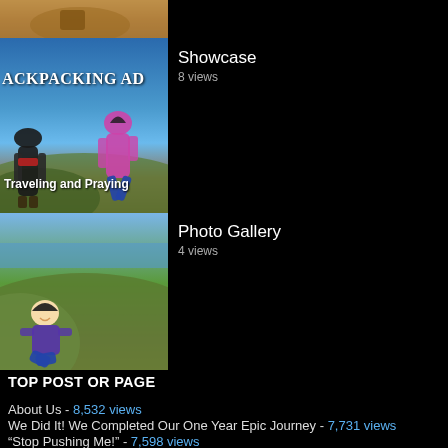[Figure (photo): Top thumbnail: sandy/rocky terrain photo cropped at top]
[Figure (photo): Middle thumbnail: backpacking adventure image with text 'ACKPACKING AD' and 'Traveling and Praying', people jumping against blue sky]
Showcase
8 views
[Figure (photo): Bottom thumbnail: girl sitting on coastal hillside with ocean view]
Photo Gallery
4 views
TOP POST OR PAGE
About Us - 8,532 views
We Did It! We Completed Our One Year Epic Journey - 7,731 views
“Stop Pushing Me!” - 7,598 views